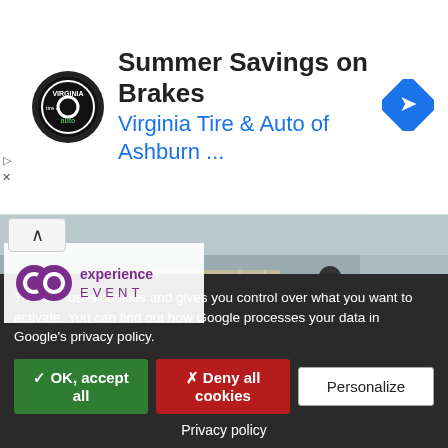[Figure (screenshot): Advertisement banner for Virginia Tire & Auto of Ashburn showing logo, title 'Summer Savings on Brakes', subtitle 'Virginia Tire & Auto of Ashburn ...', and a blue navigation arrow icon on the right.]
[Figure (photo): Warehouse/logistics photo showing a worker pulling a large pallet wrapped in plastic wrap loaded with cardboard boxes, with an Experience Event logo overlay in the top-left of the image.]
This site uses cookies and gives you control over what you want to activate. You can find out how Google processes your data in Google's privacy policy.
✓ OK, accept all
✗ Deny all cookies
Personalize
Privacy policy